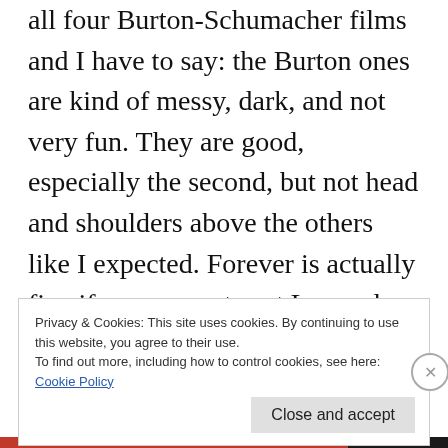all four Burton-Schumacher films and I have to say: the Burton ones are kind of messy, dark, and not very fun. They are good, especially the second, but not head and shoulders above the others like I expected. Forever is actually fine if you can get past Lee and Carrey acting like idiots. And this one, while terribly cheesy, is actually a lot more fun than I remembered ... but it is hard to tell how much watching this film multiple times when I was ten has warped my mind. It is a danger of re-watching films for
Privacy & Cookies: This site uses cookies. By continuing to use this website, you agree to their use.
To find out more, including how to control cookies, see here:
Cookie Policy
Close and accept